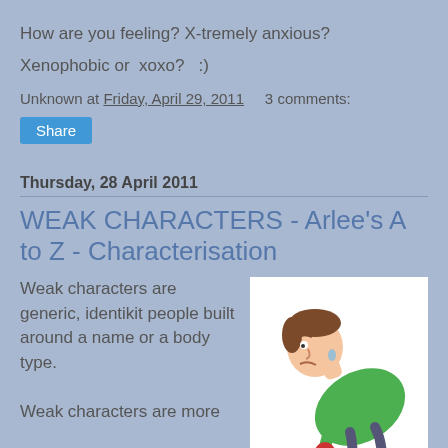How are you feeling? X-tremely anxious?
Xenophobic or  xoxo?   ;)
Unknown at Friday, April 29, 2011    3 comments:
Share
Thursday, 28 April 2011
WEAK CHARACTERS - Arlee's A to Z - Characterisation
Weak characters are generic, identikit people built around a name or a body type.
[Figure (illustration): Cartoon illustration of a hunched-over man in a green shirt looking sick or nauseous, leaning forward]
Weak characters are more